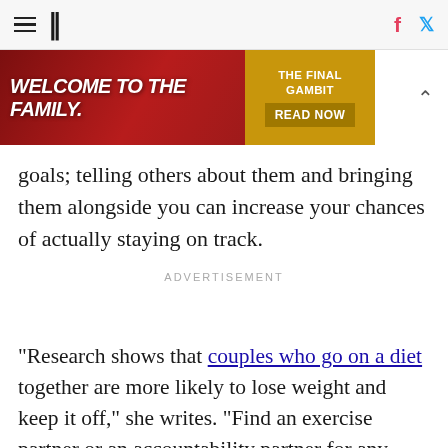HuffPost navigation with hamburger menu, logo, Facebook and Twitter icons
[Figure (other): Advertisement banner: 'WELCOME TO THE FAMILY.' with 'THE FINAL GAMBIT READ NOW' call to action on gold background]
goals; telling others about them and bringing them alongside you can increase your chances of actually staying on track.
ADVERTISEMENT
"Research shows that couples who go on a diet together are more likely to lose weight and keep it off," she writes. "Find an exercise partner or an accountability partner for any goal."